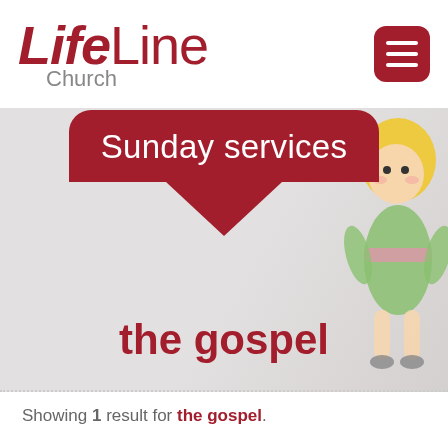[Figure (logo): LifeLine Church logo with red italic 'LifeLine' text and grey 'Church' subtitle, plus a dark red rounded square hamburger menu icon on the right]
[Figure (screenshot): Website banner showing 'Sunday services' in a dark red rounded pill/arrow shape over a blurred grey background with a toy doll figure on the right, and 'the gospel' text in dark red below]
Showing 1 result for the gospel.